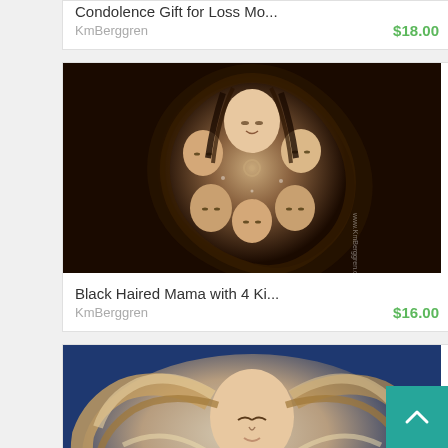Condolence Gift for Loss Mo...
KmBerggren
$18.00
[Figure (illustration): Circular painting of a mother with black hair holding four children with closed eyes, swirling hair patterns in dark tones]
Black Haired Mama with 4 Ki...
KmBerggren
$16.00
[Figure (illustration): Painting of a woman with long flowing blonde and brown hair cradling two sleeping babies or twins, blue background]
Perfect Gift For Mom Of Twin...
KmBerggren
$16.00